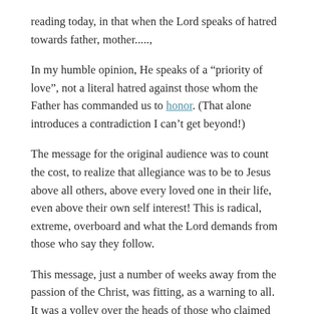reading today, in that when the Lord speaks of hatred towards father, mother.....,
In my humble opinion, He speaks of a “priority of love”, not a literal hatred against those whom the Father has commanded us to honor. (That alone introduces a contradiction I can’t get beyond!)
The message for the original audience was to count the cost, to realize that allegiance was to be to Jesus above all others, above every loved one in their life, even above their own self interest! This is radical, extreme, overboard and what the Lord demands from those who say they follow.
This message, just a number of weeks away from the passion of the Christ, was fitting, as a warning to all. It was a volley over the heads of those who claimed allegiance to Him, in order to understand the price they would pay.